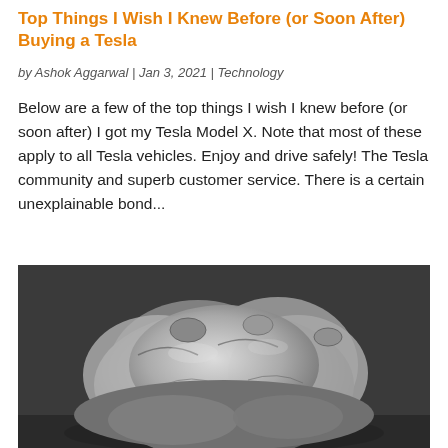Top Things I Wish I Knew Before (or Soon After) Buying a Tesla
by Ashok Aggarwal | Jan 3, 2021 | Technology
Below are a few of the top things I wish I knew before (or soon after) I got my Tesla Model X. Note that most of these apply to all Tesla vehicles. Enjoy and drive safely! The Tesla community and superb customer service. There is a certain unexplainable bond...
[Figure (photo): Black and white photograph of a pile of tied plastic garbage bags stacked together on what appears to be a sidewalk or street surface.]